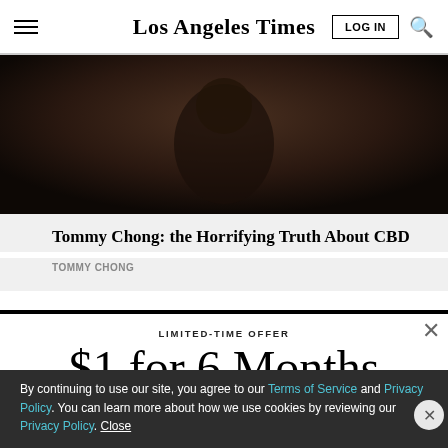Los Angeles Times
[Figure (photo): Dark photo of a person in dark clothing, dimly lit background]
Tommy Chong: the Horrifying Truth About CBD
TOMMY CHONG
LIMITED-TIME OFFER
$1 for 6 Months
SUBSCRIBE NOW
By continuing to use our site, you agree to our Terms of Service and Privacy Policy. You can learn more about how we use cookies by reviewing our Privacy Policy. Close